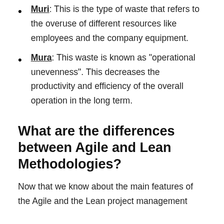Muri: This is the type of waste that refers to the overuse of different resources like employees and the company equipment.
Mura: This waste is known as “operational unevenness”. This decreases the productivity and efficiency of the overall operation in the long term.
What are the differences between Agile and Lean Methodologies?
Now that we know about the main features of the Agile and the Lean project management